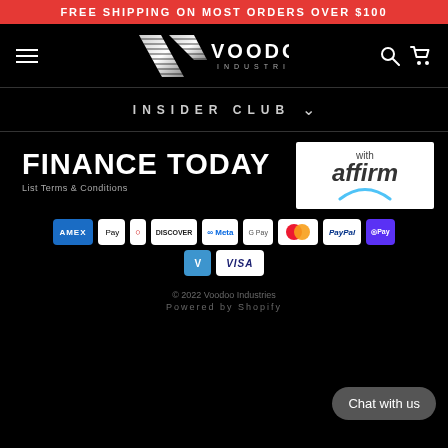FREE SHIPPING ON MOST ORDERS OVER $100
[Figure (logo): Voodoo Industries logo with metallic V chevron and striped design, white text on black background]
INSIDER CLUB
[Figure (infographic): Finance Today with Affirm promotional banner: bold white FINANCE TODAY text on black background next to Affirm logo box with blue arc]
List Terms & Conditions
[Figure (infographic): Payment method icons: AMEX, Apple Pay, Diners Club, Discover, Meta Pay, Google Pay, Mastercard, PayPal, Shop Pay, Venmo, Visa]
© 2022 Voodoo Industries
Powered by Shopify